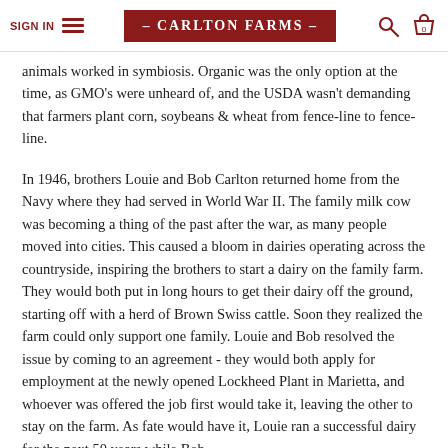SIGN IN | – CARLTON FARMS –
animals worked in symbiosis. Organic was the only option at the time, as GMO's were unheard of, and the USDA wasn't demanding that farmers plant corn, soybeans & wheat from fence-line to fence-line.
In 1946, brothers Louie and Bob Carlton returned home from the Navy where they had served in World War II. The family milk cow was becoming a thing of the past after the war, as many people moved into cities. This caused a bloom in dairies operating across the countryside, inspiring the brothers to start a dairy on the family farm. They would both put in long hours to get their dairy off the ground, starting off with a herd of Brown Swiss cattle. Soon they realized the farm could only support one family. Louie and Bob resolved the issue by coming to an agreement - they would both apply for employment at the newly opened Lockheed Plant in Marietta, and whoever was offered the job first would take it, leaving the other to stay on the farm. As fate would have it, Louie ran a successful dairy for the next 50 years while Bob